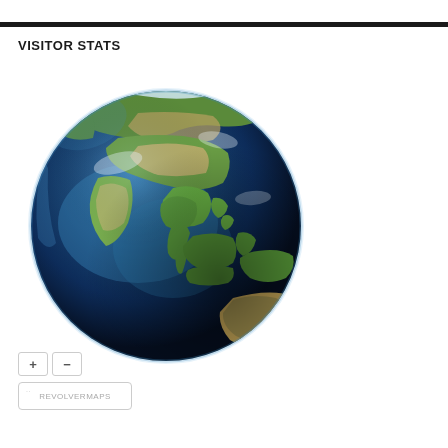VISITOR STATS
[Figure (map): A 3D rendered globe showing Asia-Pacific region, with visible landmasses of Asia, Southeast Asia, and Australia against a deep blue ocean background.]
+ −
REVOLVERMAPS